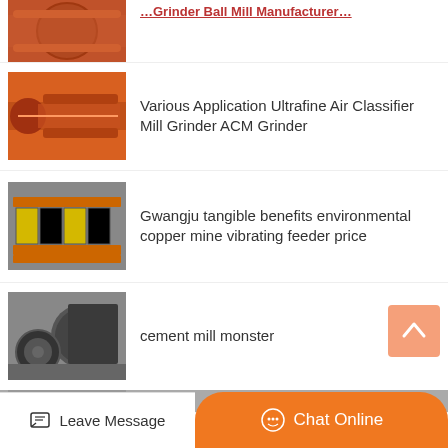[Figure (photo): Partial view of industrial ball mill machinery (orange, cylindrical), cropped at top]
[Figure (photo): Orange industrial screw/spiral classifier or similar rotating drum equipment in factory]
Various Application Ultrafine Air Classifier Mill Grinder ACM Grinder
[Figure (photo): Vibrating feeder with yellow/black panels and orange frame in industrial setting]
Gwangju tangible benefits environmental copper mine vibrating feeder price
[Figure (photo): Large cement mill with heavy machinery components in a factory building]
cement mill monster
[Figure (photo): Partial view of industrial equipment in a factory - cropped at bottom]
Leave Message
Chat Online